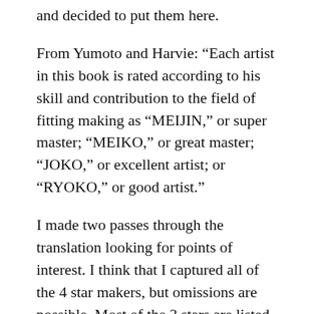and decided to put them here.
From Yumoto and Harvie: “Each artist in this book is rated according to his skill and contribution to the field of fitting making as “MEIJIN,” or super master; “MEIKO,” or great master; “JOKO,” or excellent artist; or “RYOKO,” or good artist.”
I made two passes through the translation looking for points of interest. I think that I captured all of the 4 star makers, but omissions are possible. Most of the 3 stars are listed below, but many among the bottom half are omitted. By far the majority of the entries in the book are the one star kinko artists, and I mostly